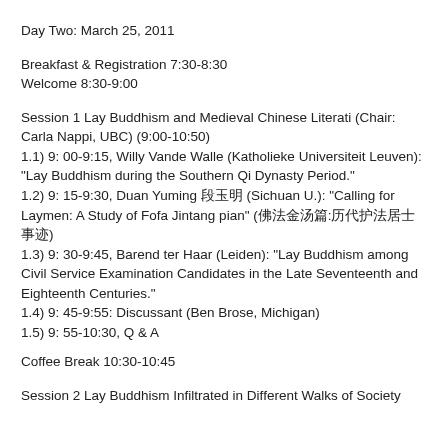Day Two: March 25, 2011
Breakfast & Registration 7:30-8:30
Welcome 8:30-9:00
Session 1 Lay Buddhism and Medieval Chinese Literati (Chair: Carla Nappi, UBC) (9:00-10:50)
1.1) 9: 00-9:15, Willy Vande Walle (Katholieke Universiteit Leuven): "Lay Buddhism during the Southern Qi Dynasty Period."
1.2) 9: 15-9:30, Duan Yuming 段玉明 (Sichuan U.): "Calling for Laymen: A Study of Fofa Jintang pian" (佛法金汤篇:历代护法居士事迹)
1.3) 9: 30-9:45, Barend ter Haar (Leiden): "Lay Buddhism among Civil Service Examination Candidates in the Late Seventeenth and Eighteenth Centuries."
1.4) 9: 45-9:55: Discussant (Ben Brose, Michigan)
1.5) 9: 55-10:30, Q & A
Coffee Break 10:30-10:45
Session 2 Lay Buddhism Infiltrated in Different Walks of Society